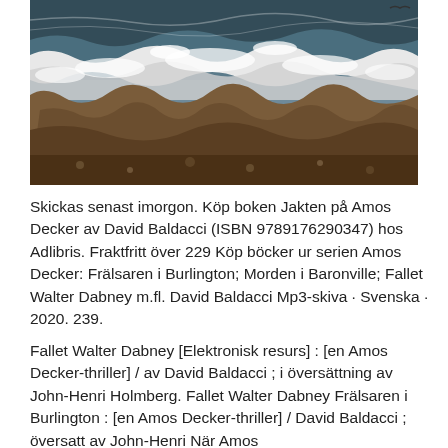[Figure (photo): Aerial view of ocean waves crashing against rocky shoreline, white foam on dark rocks and water]
Skickas senast imorgon. Köp boken Jakten på Amos Decker av David Baldacci (ISBN 9789176290347) hos Adlibris. Fraktfritt över 229 Köp böcker ur serien Amos Decker: Frälsaren i Burlington; Morden i Baronville; Fallet Walter Dabney m.fl. David Baldacci Mp3-skiva · Svenska · 2020. 239.
Fallet Walter Dabney [Elektronisk resurs] : [en Amos Decker-thriller] / av David Baldacci ; i översättning av John-Henri Holmberg. Fallet Walter Dabney Frälsaren i Burlington : [en Amos Decker-thriller] / David Baldacci ; översatt av John-Henri När Amos